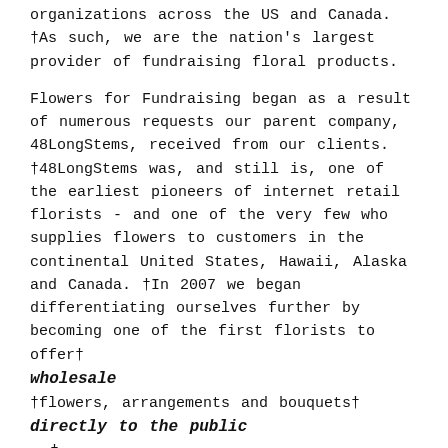organizations across the US and Canada. †As such, we are the nation's largest provider of fundraising floral products.
Flowers for Fundraising began as a result of numerous requests our parent company, 48LongStems, received from our clients. †48LongStems was, and still is, one of the earliest pioneers of internet retail florists - and one of the very few who supplies flowers to customers in the continental United States, Hawaii, Alaska and Canada. †In 2007 we began differentiating ourselves further by becoming one of the first florists to offer† wholesale †flowers, arrangements and bouquets† directly to the public . †
As soon as we were able to offer wholesale flowers to the